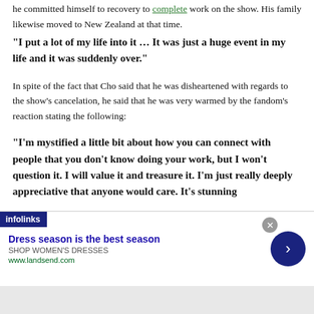he committed himself to recovery to complete work on the show. His family likewise moved to New Zealand at that time.
“I put a lot of my life into it … It was just a huge event in my life and it was suddenly over.”
In spite of the fact that Cho said that he was disheartened with regards to the show’s cancelation, he said that he was very warmed by the fandom’s reaction stating the following:
“I’m mystified a little bit about how you can connect with people that you don’t know doing your work, but I won’t question it. I will value it and treasure it. I’m just really deeply appreciative that anyone would care. It’s stunning
[Figure (screenshot): Infolinks advertisement banner for Lands' End: 'Dress season is the best season' with SHOP WOMEN'S DRESSES and www.landsend.com]